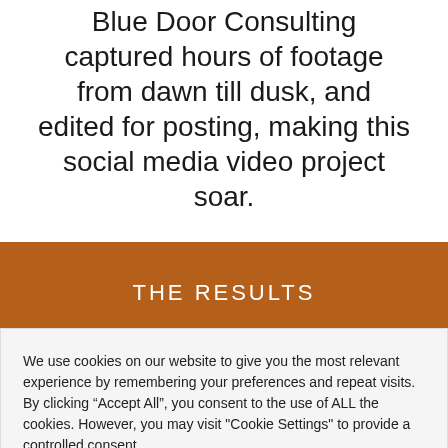Blue Door Consulting captured hours of footage from dawn till dusk, and edited for posting, making this social media video project soar.
THE RESULTS
We use cookies on our website to give you the most relevant experience by remembering your preferences and repeat visits. By clicking “Accept All”, you consent to the use of ALL the cookies. However, you may visit "Cookie Settings" to provide a controlled consent.